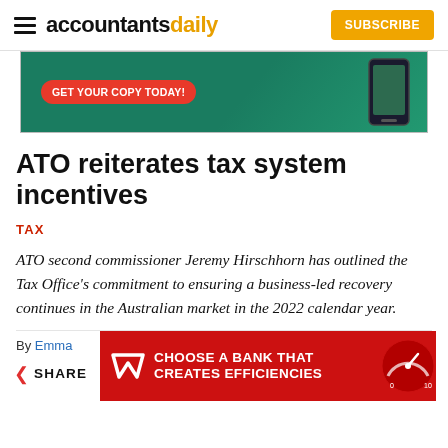accountantsdaily — SUBSCRIBE
[Figure (advertisement): Green banner ad with red button saying GET YOUR COPY TODAY! and a phone graphic on the right]
ATO reiterates tax system incentives
TAX
ATO second commissioner Jeremy Hirschhorn has outlined the Tax Office's commitment to ensuring a business-led recovery continues in the Australian market in the 2022 calendar year.
By Emma
[Figure (advertisement): Red Westpac bank ad with text CHOOSE A BANK THAT CREATES EFFICIENCIES and a gauge graphic]
SHARE